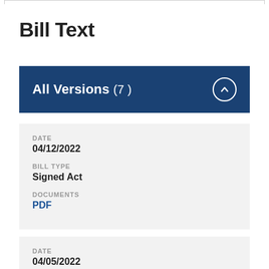Bill Text
All Versions (7)
DATE
04/12/2022
BILL TYPE
Signed Act
DOCUMENTS
PDF
DATE
04/05/2022
BILL TYPE
Final Act